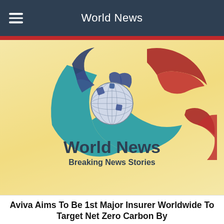World News
[Figure (logo): World News logo with globe and swirling teal, dark blue, and red segments on a golden/cream gradient background, with text 'World News' and 'Breaking News Stories' below the globe]
Aviva Aims To Be 1st Major Insurer Worldwide To Target Net Zero Carbon By